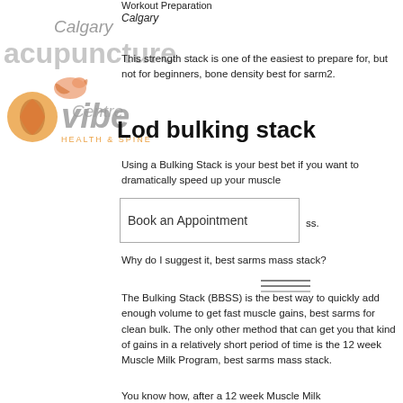Workout Preparation
Calgary
acupuncture
Centre
This strength stack is one of the easiest to prepare for, but not for beginners, bone density best for sarm2.
Lod bulking stack
Using a Bulking Stack is your best bet if you want to dramatically speed up your muscle ss.
Book an Appointment
Why do I suggest it, best sarms mass stack?
The Bulking Stack (BBSS) is the best way to quickly add enough volume to get fast muscle gains, best sarms for clean bulk. The only other method that can get you that kind of gains in a relatively short period of time is the 12 week Muscle Milk Program, best sarms mass stack.
You know how, after a 12 week Muscle Milk